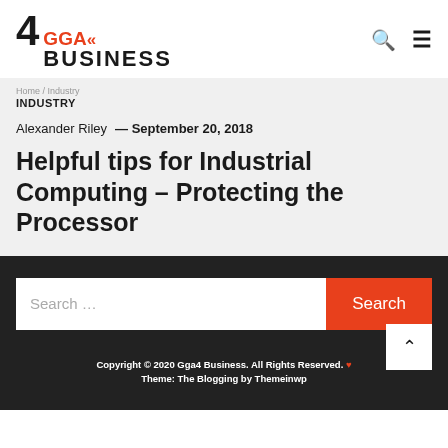[Figure (logo): 4 GGA Business logo with red chevrons and stylized text]
INDUSTRY
Alexander Riley — September 20, 2018
Helpful tips for Industrial Computing – Protecting the Processor
Search ...
Copyright © 2020 Gga4 Business. All Rights Reserved. ♥ Theme: The Blogging by Themeinwp